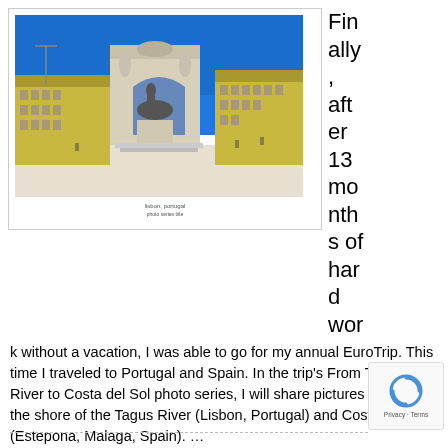[Figure (photo): Photo of Praça do Comércio in Lisbon, Portugal, showing the Rua Augusta Arch, equestrian statue of King José I, and classical yellow buildings against a blue sky.]
lisbon, portugal
Finally, after 13 months of hard work without a vacation, I was able to go for my annual EuroTrip. This time I traveled to Portugal and Spain. In the trip's From Tagus River to Costa del Sol photo series, I will share pictures taken on the shore of the Tagus River (Lisbon, Portugal) and Costa del Sol (Estepona, Malaga, Spain). …
[Figure (other): Red 'View Photos' button link]
[Figure (other): reCAPTCHA privacy widget with spinning arrows icon and 'Privacy - Terms' label]